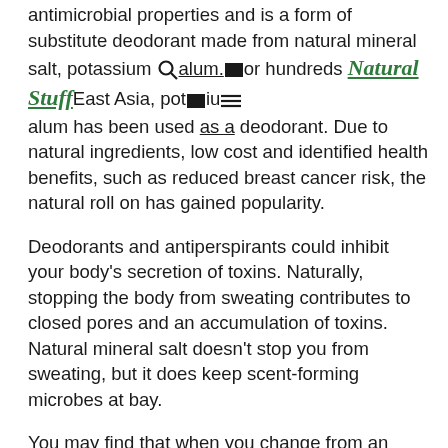antimicrobial properties and is a form of substitute deodorant made from natural mineral salt, potassium alum. For hundreds of years in East Asia, potassium alum has been used as a deodorant. Due to natural ingredients, low cost and identified health benefits, such as reduced breast cancer risk, the natural roll on has gained popularity.
Deodorants and antiperspirants could inhibit your body's secretion of toxins. Naturally, stopping the body from sweating contributes to closed pores and an accumulation of toxins. Natural mineral salt doesn't stop you from sweating, but it does keep scent-forming microbes at bay.
You may find that when you change from an antiperspirant to the mineral deodorant, you are sweating more than usual. During this adjustment stage, there is also the potential for increased body odour. In fact, after a certain time, the body will adapt after some time.